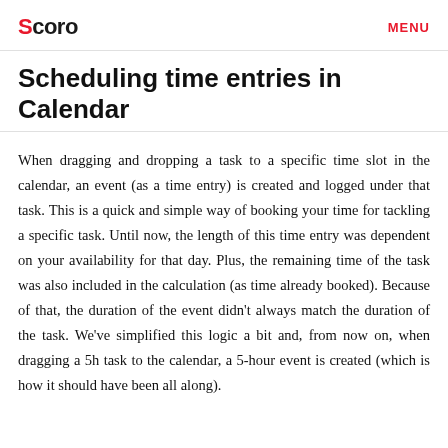Scoro  MENU
Scheduling time entries in Calendar
When dragging and dropping a task to a specific time slot in the calendar, an event (as a time entry) is created and logged under that task. This is a quick and simple way of booking your time for tackling a specific task. Until now, the length of this time entry was dependent on your availability for that day. Plus, the remaining time of the task was also included in the calculation (as time already booked). Because of that, the duration of the event didn't always match the duration of the task. We've simplified this logic a bit and, from now on, when dragging a 5h task to the calendar, a 5-hour event is created (which is how it should have been all along).